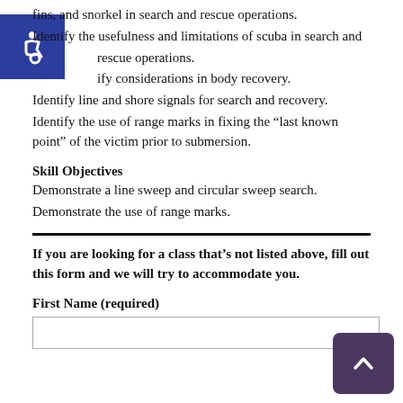fins, and snorkel in search and rescue operations.
Identify the usefulness and limitations of scuba in search and rescue operations.
Identify considerations in body recovery.
Identify line and shore signals for search and recovery.
Identify the use of range marks in fixing the “last known point” of the victim prior to submersion.
Skill Objectives
Demonstrate a line sweep and circular sweep search.
Demonstrate the use of range marks.
If you are looking for a class that’s not listed above, fill out this form and we will try to accommodate you.
First Name (required)